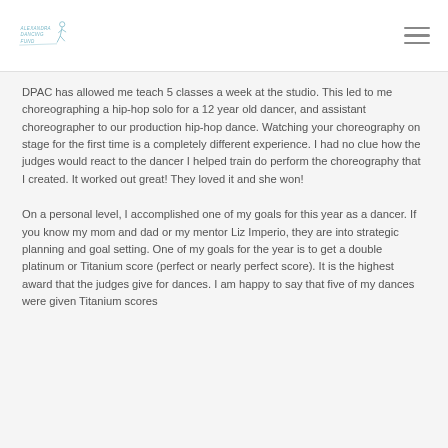Alexandra Dancing Fund — navigation logo and menu
DPAC has allowed me teach 5 classes a week at the studio. This led to me choreographing a hip-hop solo for a 12 year old dancer, and assistant choreographer to our production hip-hop dance. Watching your choreography on stage for the first time is a completely different experience. I had no clue how the judges would react to the dancer I helped train do perform the choreography that I created. It worked out great! They loved it and she won!
On a personal level, I accomplished one of my goals for this year as a dancer. If you know my mom and dad or my mentor Liz Imperio, they are into strategic planning and goal setting. One of my goals for the year is to get a double platinum or Titanium score (perfect or nearly perfect score). It is the highest award that the judges give for dances. I am happy to say that five of my dances were given Titanium scores